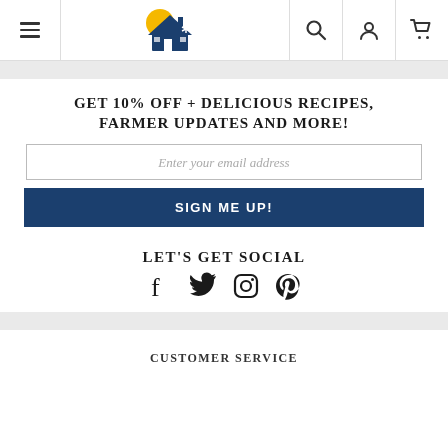Navigation bar with menu, logo, search, account, cart icons
GET 10% OFF + DELICIOUS RECIPES, FARMER UPDATES AND MORE!
Enter your email address
SIGN ME UP!
LET'S GET SOCIAL
[Figure (infographic): Social media icons: Facebook, Twitter, Instagram, Pinterest]
CUSTOMER SERVICE